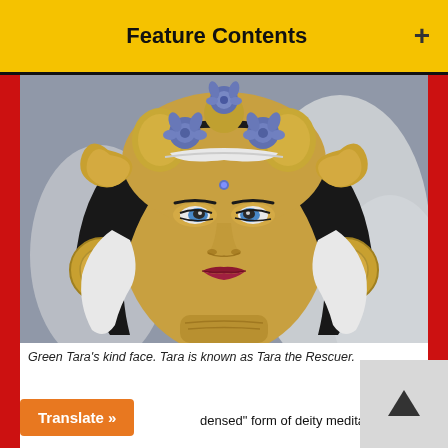Feature Contents
[Figure (photo): Close-up of Green Tara statue face — golden skin, blue eyes, ornate gold crown with blue flowers, dark hair, red lips, large gold circular earrings with red gem, silver decorative elements in background.]
Green Tara's kind face. Tara is known as Tara the Rescuer.
densed" form of deity meditation. For